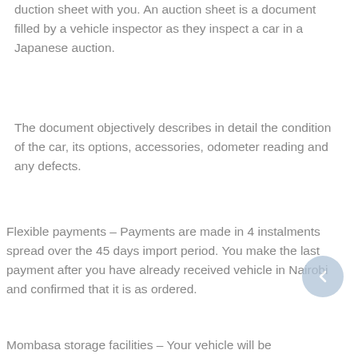duction sheet with you. An auction sheet is a document filled by a vehicle inspector as they inspect a car in a Japanese auction.
The document objectively describes in detail the condition of the car, its options, accessories, odometer reading and any defects.
Flexible payments – Payments are made in 4 instalments spread over the 45 days import period. You make the last payment after you have already received vehicle in Nairobi and confirmed that it is as ordered.
Mombasa storage facilities – Your vehicle will be